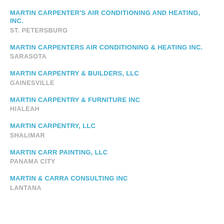MARTIN CARPENTER'S AIR CONDITIONING AND HEATING, INC.
ST. PETERSBURG
MARTIN CARPENTERS AIR CONDITIONING & HEATING INC.
SARASO TA
MARTIN CARPENTRY & BUILDERS, LLC
GAINESVILLE
MARTIN CARPENTRY & FURNITURE INC
HIALEAH
MARTIN CARPENTRY, LLC
SHALIMAR
MARTIN CARR PAINTING, LLC
PANAMA CITY
MARTIN & CARRA CONSULTING INC
LANTANA